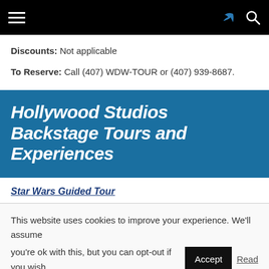Navigation bar with hamburger menu, share icon, and search icon
Discounts: Not applicable
To Reserve: Call (407) WDW-TOUR or (407) 939-8687.
Hollywood Studios Backstage Tours and Experiences
Star Wars Guided Tour
This website uses cookies to improve your experience. We'll assume you're ok with this, but you can opt-out if you wish. Accept Read More